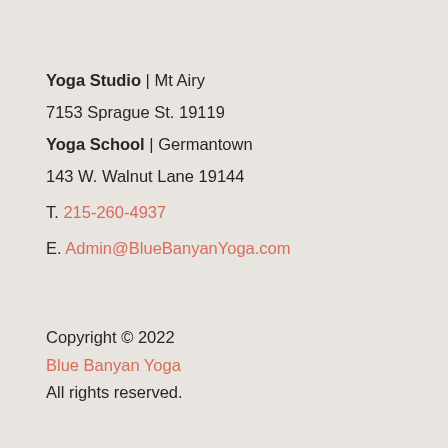Yoga Studio | Mt Airy
7153 Sprague St. 19119
Yoga School | Germantown
143 W. Walnut Lane 19144
T. 215-260-4937
E. Admin@BlueBanyanYoga.com
Copyright © 2022
Blue Banyan Yoga
All rights reserved.